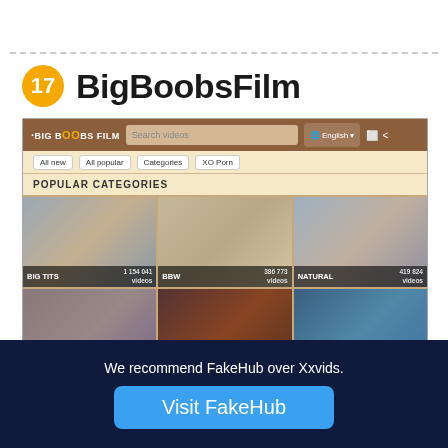17 BigBoobsFilm
[Figure (screenshot): Screenshot of BigBoobsFilm website showing popular categories grid with BIG TITS, BBW, NATURAL, MOM, EBONY, STEPMOM]
We recommend FakeHub over Xxvids.
Visit FakeHub